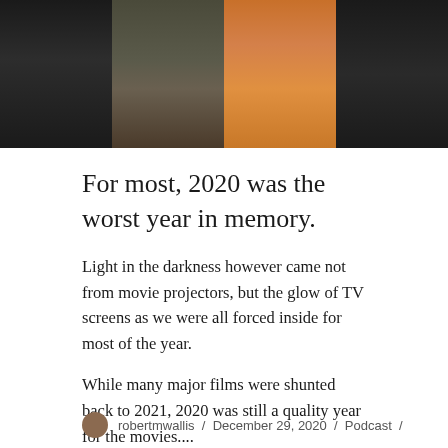[Figure (photo): Collage of movie/TV stills split into four vertical panels: dark figure on left, person in military/casual clothing, person in colorful yellow-orange floral top, dark figure on right]
For most, 2020 was the worst year in memory.
Light in the darkness however came not from movie projectors, but the glow of TV screens as we were all forced inside for most of the year.
While many major films were shunted back to 2021, 2020 was still a quality year for the movies....
robertmwallis / December 29, 2020 / Podcast /